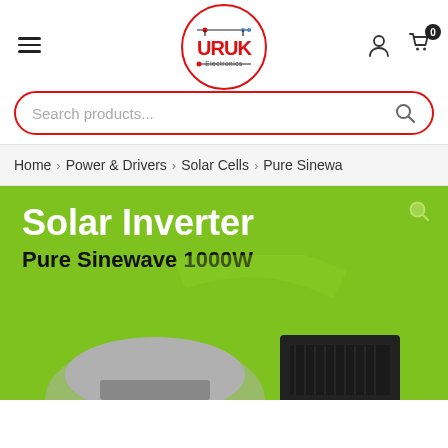[Figure (logo): URUK Electronics logo — red circle border with circuit design and red bold URUK text, 'Electronics' below]
Search products...
Home > Power & Drivers > Solar Cells > Pure Sinewa
[Figure (photo): Solar Inverter product image on green background showing two inverter devices. Text overlay: 'Solar Inverter' and 'Pure Sinewave 1000W'. Magnify icon in top right corner.]